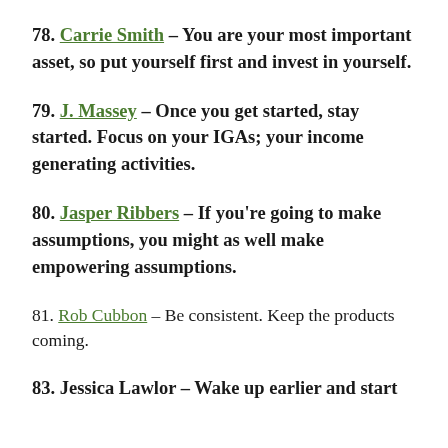78. Carrie Smith – You are your most important asset, so put yourself first and invest in yourself.
79. J. Massey – Once you get started, stay started. Focus on your IGAs; your income generating activities.
80. Jasper Ribbers – If you're going to make assumptions, you might as well make empowering assumptions.
81. Rob Cubbon – Be consistent. Keep the products coming.
83. Jessica Lawlor – Wake up earlier and start